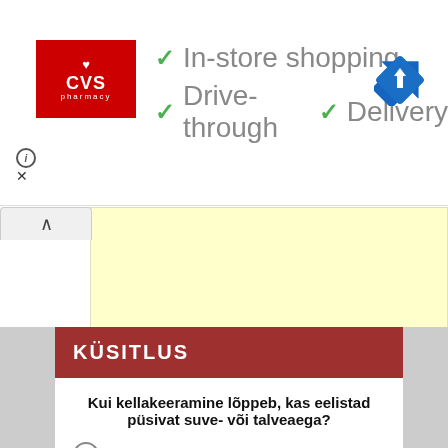[Figure (screenshot): CVS Pharmacy advertisement banner with checkmarks for In-store shopping, Drive-through, and Delivery services, plus a navigation arrow icon]
[Figure (screenshot): Collapsed/expanded tab UI element with upward arrow, yellow expanded area below]
KÜSITLUS
Kui kellakeeramine lõppeb, kas eelistad püsivat suve- või talveaega?
Suveaega
Talveaega
Hääleta